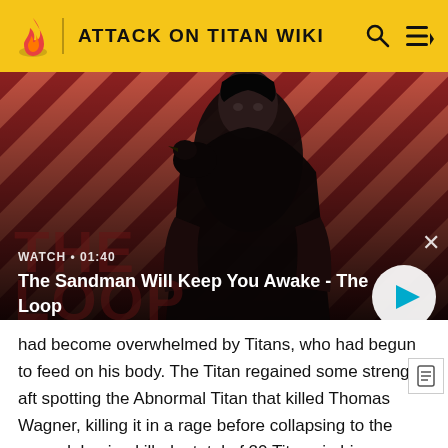ATTACK ON TITAN WIKI
[Figure (screenshot): Video thumbnail showing a dark-clad figure with a raven on shoulder against a red diagonal striped background. Shows 'The Sandman Will Keep You Awake - The Loop' with watch time 01:40 and a play button.]
WATCH • 01:40
The Sandman Will Keep You Awake - The Loop
had become overwhelmed by Titans, who had begun to feed on his body. The Titan regained some strength aft spotting the Abnormal Titan that killed Thomas Wagner, killing it in a rage before collapsing to the ground, having killed a total of 20 Titans in his own Titan form.[29][30] The